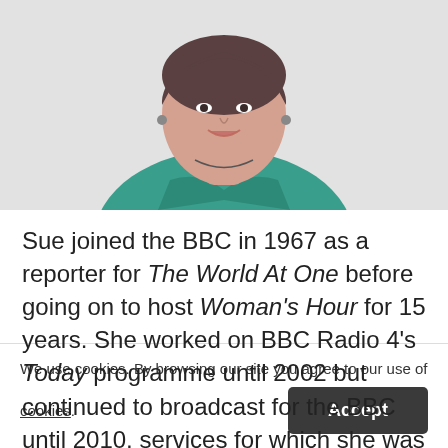[Figure (photo): Portrait photo of a woman with short dark hair wearing a teal/green satin jacket, smiling, photographed from the shoulders up against a light background.]
Sue joined the BBC in 1967 as a reporter for The World At One before going on to host Woman's Hour for 15 years. She worked on BBC Radio 4's Today programme until 2002 but continued to broadcast for the BBC until 2010, services for which she was awarded her CBE.
We use cookies. By browsing our site you agree to our use of cookies. Accept